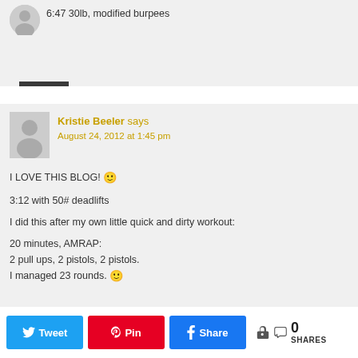6:47 30lb, modified burpees
Reply
Kristie Beeler says
August 24, 2012 at 1:45 pm
I LOVE THIS BLOG! 🙂

3:12 with 50# deadlifts

I did this after my own little quick and dirty workout:

20 minutes, AMRAP:
2 pull ups, 2 pistols, 2 pistols.
I managed 23 rounds. 🙂